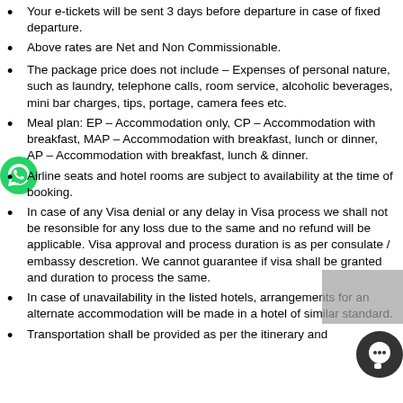Your e-tickets will be sent 3 days before departure in case of fixed departure.
Above rates are Net and Non Commissionable.
The package price does not include – Expenses of personal nature, such as laundry, telephone calls, room service, alcoholic beverages, mini bar charges, tips, portage, camera fees etc.
Meal plan: EP – Accommodation only, CP – Accommodation with breakfast, MAP – Accommodation with breakfast, lunch or dinner, AP – Accommodation with breakfast, lunch & dinner.
Airline seats and hotel rooms are subject to availability at the time of booking.
In case of any Visa denial or any delay in Visa process we shall not be resonsible for any loss due to the same and no refund will be applicable. Visa approval and process duration is as per consulate / embassy descretion. We cannot guarantee if visa shall be granted and duration to process the same.
In case of unavailability in the listed hotels, arrangements for an alternate accommodation will be made in a hotel of similar standard.
Transportation shall be provided as per the itinerary and